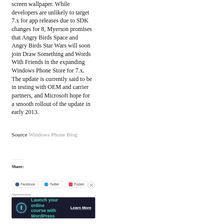screen wallpaper. While developers are unlikely to target 7.x for app releases due to SDK changes for 8, Myerson promises that Angry Birds Space and Angry Birds Star Wars will soon join Draw Something and Words With Friends in the expanding Windows Phone Store for 7.x. The update is currently said to be in testing with OEM and carrier partners, and Microsoft hope for a smooth rollout of the update in early 2013.
Source Windows Phone Blog
Share:
Facebook  Twitter  Pocket
Advertisements
Launch your online course with WordPress  Learn More